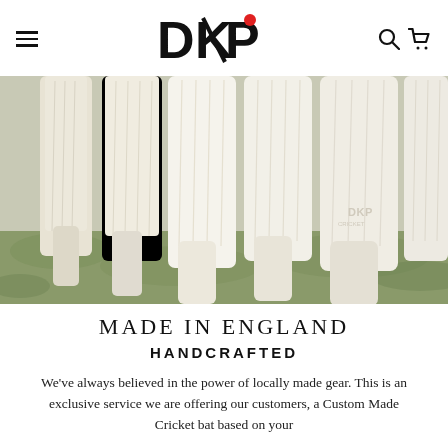DKP (logo with navigation icons)
[Figure (photo): Multiple white/cream cricket bats laid on green grass, with DKP logo visible on one bat]
MADE IN ENGLAND
HANDCRAFTED
We've always believed in the power of locally made gear. This is an exclusive service we are offering our customers, a Custom Made Cricket bat based on your